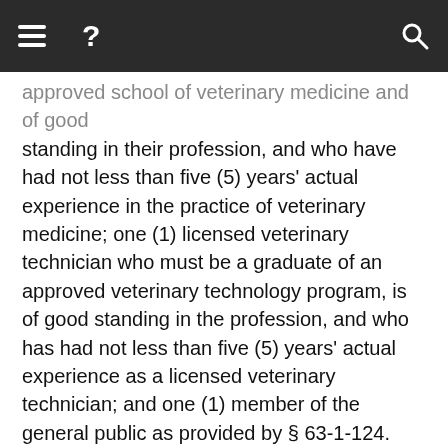Navigation bar with menu, help, and search icons
approved school of veterinary medicine and of good standing in their profession, and who have had not less than five (5) years' actual experience in the practice of veterinary medicine; one (1) licensed veterinary technician who must be a graduate of an approved veterinary technology program, is of good standing in the profession, and who has had not less than five (5) years' actual experience as a licensed veterinary technician; and one (1) member of the general public as provided by § 63-1-124.
Moreover, the members of the board must be appointed by the governor for a term of five (5) years.  Each member so appointed must serve until the expiration of the particular five-year term to which the member is appointed, and thereafter until the member's successor has been appointed by the governor.  The governor may